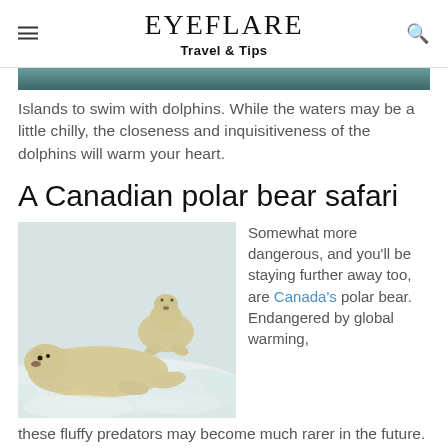EYEFLARE
Travel & Tips
Islands to swim with dolphins. While the waters may be a little chilly, the closeness and inquisitiveness of the dolphins will warm your heart.
A Canadian polar bear safari
[Figure (photo): Two polar bears resting in snow, with a third bear standing behind them in a snowy landscape.]
Somewhat more dangerous, and you'll be staying further away too, are Canada's polar bear. Endangered by global warming, these fluffy predators may become much rarer in the future. Visit them from Churchill, a remote town in the